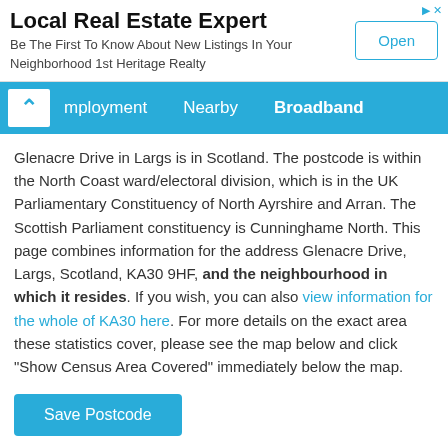[Figure (other): Advertisement banner for Local Real Estate Expert - 1st Heritage Realty with Open button]
Employment  Nearby  Broadband
Glenacre Drive in Largs is in Scotland. The postcode is within the North Coast ward/electoral division, which is in the UK Parliamentary Constituency of North Ayrshire and Arran. The Scottish Parliament constituency is Cunninghame North. This page combines information for the address Glenacre Drive, Largs, Scotland, KA30 9HF, and the neighbourhood in which it resides. If you wish, you can also view information for the whole of KA30 here. For more details on the exact area these statistics cover, please see the map below and click "Show Census Area Covered" immediately below the map.
Save Postcode
Share  Tweet  Share